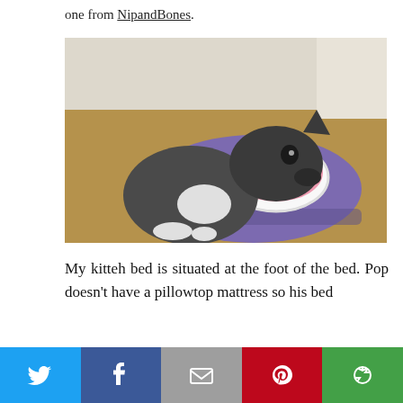one from NipandBones.
[Figure (photo): A black and white cat eating from a white bowl decorated with a crown and star, placed on a purple pet feeding mat on a wooden floor.]
My kitteh bed is situated at the foot of the bed. Pop doesn't have a pillowtop mattress so his bed
[Figure (infographic): Social share bar with five buttons: Twitter (blue bird icon), Facebook (blue f icon), Email (grey envelope icon), Pinterest (red P icon), and More (green circular arrow icon).]